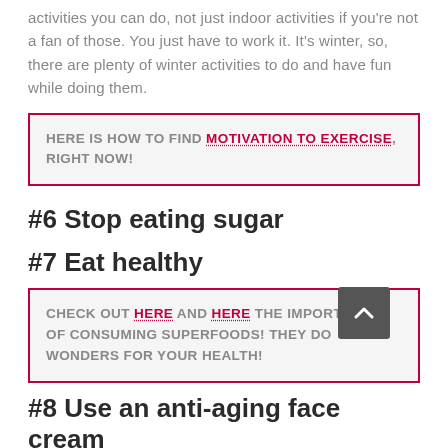activities you can do, not just indoor activities if you're not a fan of those. You just have to work it. It's winter, so, there are plenty of winter activities to do and have fun while doing them.
HERE IS HOW TO FIND MOTIVATION TO EXERCISE, RIGHT NOW!
#6 Stop eating sugar
#7 Eat healthy
CHECK OUT HERE AND HERE THE IMPORTANCE OF CONSUMING SUPERFOODS! THEY DO WONDERS FOR YOUR HEALTH!
#8 Use an anti-aging face cream